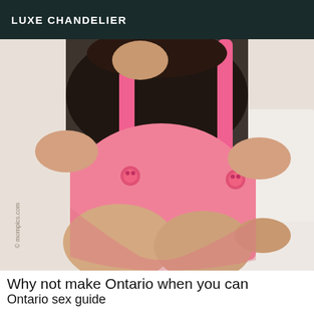LUXE CHANDELIER
[Figure (photo): A person sitting on a white surface wearing a black mesh top and pink high-waisted shorts with suspenders and pink buttons.]
Why not make Ontario when you can Ontario sex guide